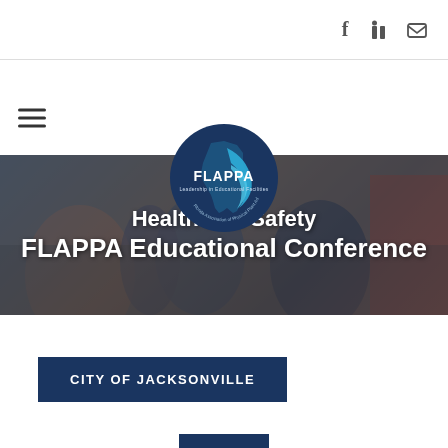Social icons: Facebook, LinkedIn, Email
[Figure (logo): FLAPPA circular logo — dark navy circle with Florida state outline in teal/white and text 'FLAPPA Leadership in Educational Facilities']
[Figure (photo): Conference attendees seated, wearing masks and lanyards, looking at phones/devices. Orange booth/banner in background.]
Health and Safety
FLAPPA Educational Conference
CITY OF JACKSONVILLE